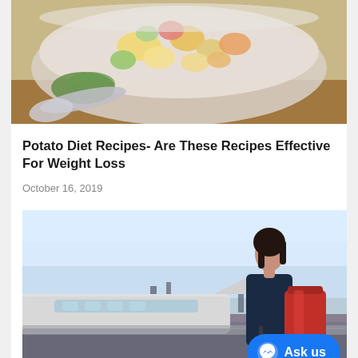[Figure (photo): Food photo showing a bowl of potato salad with mixed vegetables, with a spoon visible in foreground]
Potato Diet Recipes- Are These Recipes Effective For Weight Loss
October 16, 2019
[Figure (photo): Travel photo showing a woman with dark hair wearing a dark blazer, carrying a red tote bag and rolling luggage, standing at an airport looking out at the tarmac with a plane visible]